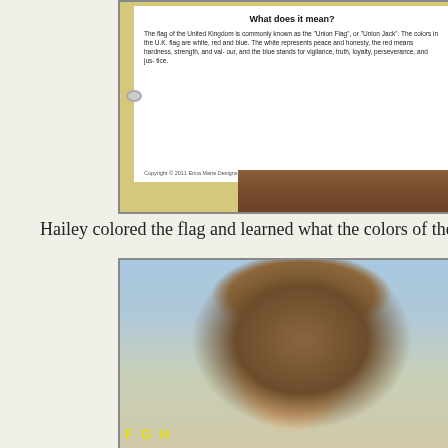[Figure (photo): Photo of a printed worksheet about the UK flag ('What does it mean?') mounted on a yellow-backed clipboard or board sitting on a wooden ledge. A binder ring is visible on the left side.]
Hailey colored the flag and learned what the colors of the fla
[Figure (photo): Close-up photo of a young girl with long brown/blonde hair and bangs, smiling slightly, in a classroom setting with colorful letters visible in the background.]